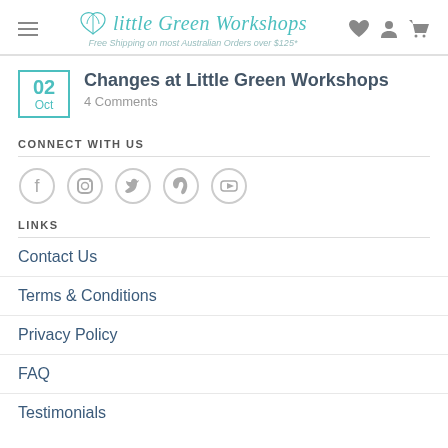Little Green Workshops — Free Shipping on most Australian Orders over $125*
Changes at Little Green Workshops
4 Comments
CONNECT WITH US
[Figure (illustration): Five social media icons in circles: Facebook, Instagram, Twitter, Pinterest, YouTube]
LINKS
Contact Us
Terms & Conditions
Privacy Policy
FAQ
Testimonials